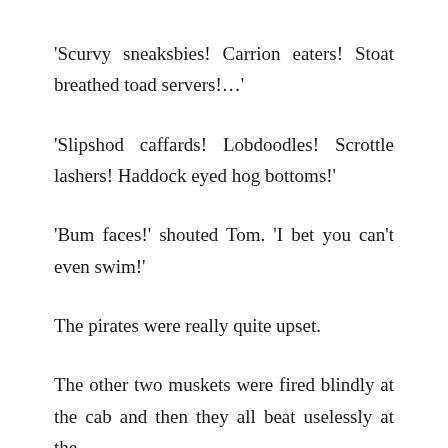‘Scurvy sneaksbies! Carrion eaters! Stoat breathed toad servers!…’
‘Slipshod caffards! Lobdoodles! Scrottle lashers! Haddock eyed hog bottoms!’
‘Bum faces!’ shouted Tom. ‘I bet you can’t even swim!’
The pirates were really quite upset.
The other two muskets were fired blindly at the cab and then they all beat uselessly at the